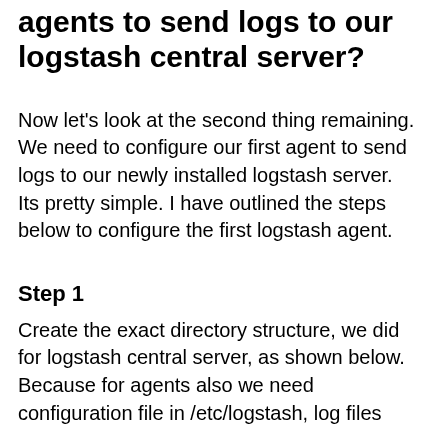agents to send logs to our logstash central server?
Now let's look at the second thing remaining. We need to configure our first agent to send logs to our newly installed logstash server. Its pretty simple. I have outlined the steps below to configure the first logstash agent.
Step 1
Create the exact directory structure, we did for logstash central server, as shown below. Because for agents also we need configuration file in /etc/logstash, log files